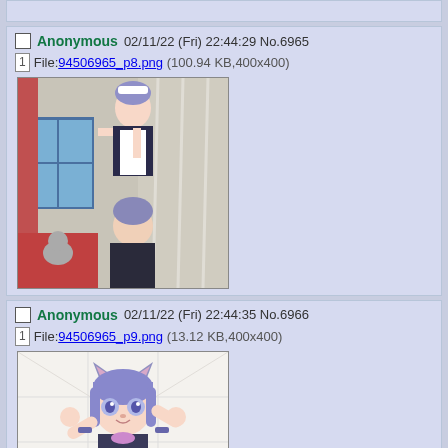[Figure (screenshot): Partial top of a previous imageboard post, cropped]
Anonymous 02/11/22 (Fri) 22:44:29 No.6965
File: 94506965_p8.png (100.94 KB,400x400)
[Figure (illustration): Anime illustration showing two anime-style characters in a room with curtains and a window]
Anonymous 02/11/22 (Fri) 22:44:35 No.6966
File: 94506965_p9.png (13.12 KB,400x400)
[Figure (illustration): Anime-style sketch of a cat-eared girl with purple hair, raising her fists]